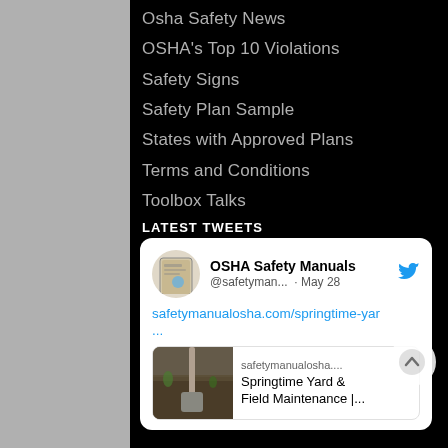Osha Safety News
OSHA's Top 10 Violations
Safety Signs
Safety Plan Sample
States with Approved Plans
Terms and Conditions
Toolbox Talks
LATEST TWEETS
OSHA Safety Manuals @safetyman... · May 28 safetymanualosha.com/springtime-yar ... safetymanualosha.... Springtime Yard & Field Maintenance |...